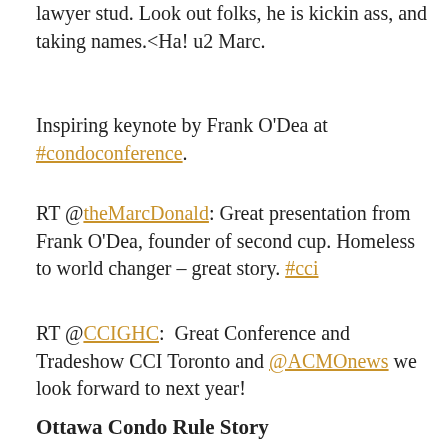lawyer stud. Look out folks, he is kickin ass, and taking names.<Ha! u2 Marc.
Inspiring keynote by Frank O'Dea at #condoconference.
RT @theMarcDonald: Great presentation from Frank O'Dea, founder of second cup. Homeless to world changer – great story. #cci
RT @CCIGHC:  Great Conference and Tradeshow CCI Toronto and @ACMOnews we look forward to next year!
Ottawa Condo Rule Story